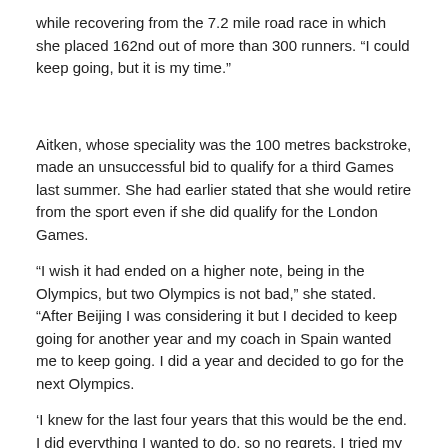while recovering from the 7.2 mile road race in which she placed 162nd out of more than 300 runners. “I could keep going, but it is my time.”
Aitken, whose speciality was the 100 metres backstroke, made an unsuccessful bid to qualify for a third Games last summer. She had earlier stated that she would retire from the sport even if she did qualify for the London Games.
“I wish it had ended on a higher note, being in the Olympics, but two Olympics is not bad,” she stated. “After Beijing I was considering it but I decided to keep going for another year and my coach in Spain wanted me to keep going. I did a year and decided to go for the next Olympics.
‘I knew for the last four years that this would be the end. I did everything I wanted to do, so no regrets. I tried my hardest in the end to qualify so I’m proud of myself.”
Aitken plans some travelling and will be based in South America. She is back home until February.